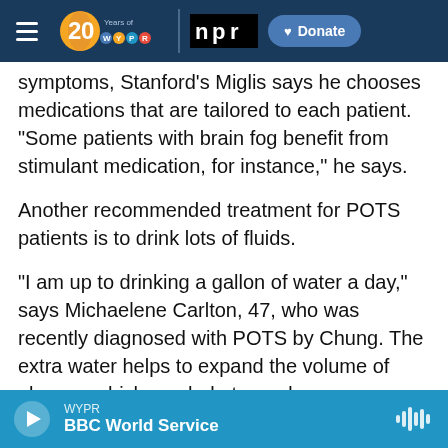[Figure (screenshot): WYPR 20 Years / NPR navigation bar with hamburger menu, WYPR 20th anniversary logo, NPR logo, and Donate button]
...with POTS syndrome with a range of symptoms, Stanford's Miglis says he chooses medications that are tailored to each patient. "Some patients with brain fog benefit from stimulant medication, for instance," he says.
Another recommended treatment for POTS patients is to drink lots of fluids.
"I am up to drinking a gallon of water a day," says Michaelene Carlton, 47, who was recently diagnosed with POTS by Chung. The extra water helps to expand the volume of plasma, which can help tamp down symptoms. Extra salt is
[Figure (screenshot): Audio player bar showing WYPR / BBC World Service with play button and waveform icon]